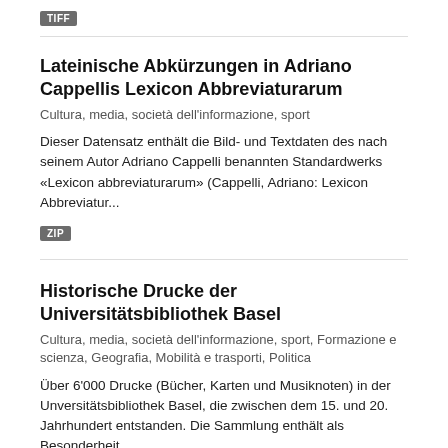TIFF
Lateinische Abkürzungen in Adriano Cappellis Lexicon Abbreviaturarum
Cultura, media, società dell'informazione, sport
Dieser Datensatz enthält die Bild- und Textdaten des nach seinem Autor Adriano Cappelli benannten Standardwerks «Lexicon abbreviaturarum» (Cappelli, Adriano: Lexicon Abbreviatur...
ZIP
Historische Drucke der Universitätsbibliothek Basel
Cultura, media, società dell'informazione, sport, Formazione e scienza, Geografia, Mobilità e trasporti, Politica
Über 6'000 Drucke (Bücher, Karten und Musiknoten) in der Unversitätsbibliothek Basel, die zwischen dem 15. und 20. Jahrhundert entstanden. Die Sammlung enthält als Besonderheit